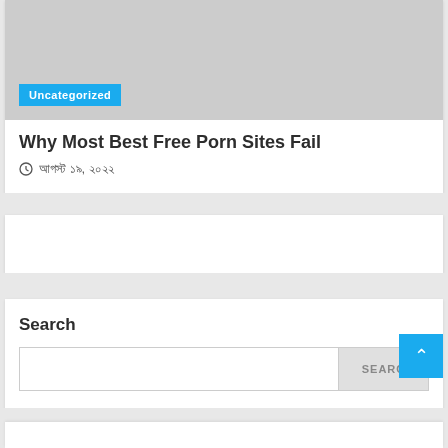[Figure (photo): Gray placeholder image with Uncategorized badge]
Why Most Best Free Porn Sites Fail
আগস্ট ১৯, ২০২২
[Figure (other): White panel / ad area]
Search
Search input field and SEARCH button